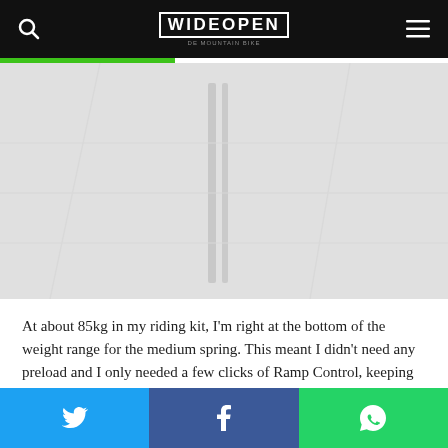WIDEOPEN
[Figure (photo): A faded/washed out outdoor scene, likely a mountain bike rider or trail scene in winter or overcast conditions, light gray tones]
At about 85kg in my riding kit, I'm right at the bottom of the weight range for the medium spring. This meant I didn't need any preload and I only needed a few clicks of Ramp Control, keeping the main part of the travel linear and smooth with a bit of ramp up at the end. I prefer a faster fork so I only ran a
Twitter share | Facebook share | WhatsApp share